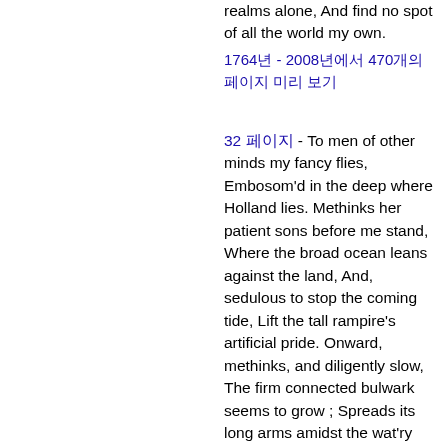realms alone, And find no spot of all the world my own.
1764년 - 2008년에서 470개의 페이지 미리 보기
32 페이지 - To men of other minds my fancy flies, Embosom'd in the deep where Holland lies. Methinks her patient sons before me stand, Where the broad ocean leans against the land, And, sedulous to stop the coming tide, Lift the tall rampire's artificial pride. Onward, methinks, and diligently slow, The firm connected bulwark seems to grow ; Spreads its long arms amidst the wat'ry roar, Scoops out an empire, and yourze